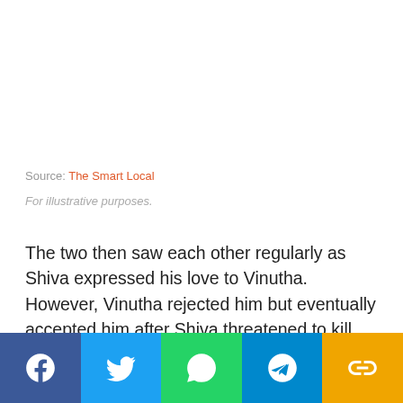Source: The Smart Local
For illustrative purposes.
The two then saw each other regularly as Shiva expressed his love to Vinutha. However, Vinutha rejected him but eventually accepted him after Shiva threatened to kill himself if she refused his advances. This whole ordeal happened despite Vinutha being married to Bharath the